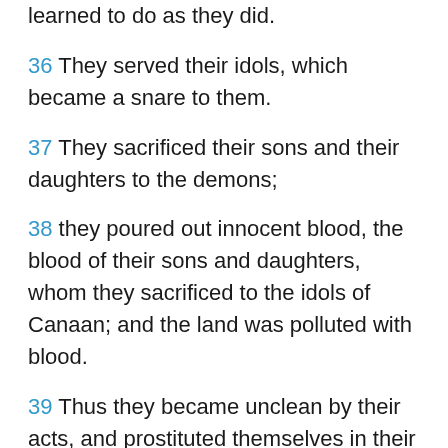learned to do as they did.
36 They served their idols, which became a snare to them.
37 They sacrificed their sons and their daughters to the demons;
38 they poured out innocent blood, the blood of their sons and daughters, whom they sacrificed to the idols of Canaan; and the land was polluted with blood.
39 Thus they became unclean by their acts, and prostituted themselves in their doings.
40 Then the anger of the Lord was kindled against his people, and he abhorred his